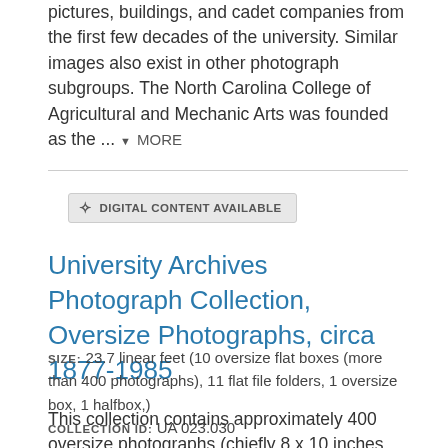pictures, buildings, and cadet companies from the first few decades of the university. Similar images also exist in other photograph subgroups. The North Carolina College of Agricultural and Mechanic Arts was founded as the ... ▾ MORE
University Archives Photograph Collection, Oversize Photographs, circa 1877-1985
SIZE: 23.7 linear feet (10 oversize flat boxes (more than 400 photographs), 11 flat file folders, 1 oversize box, 1 halfbox,)
COLLECTION ID: UA 023.030
This collection contains approximately 400 oversize photographs (chiefly 8 x 10 inches and larger) from the University Archives Photograph Collection. The images depict